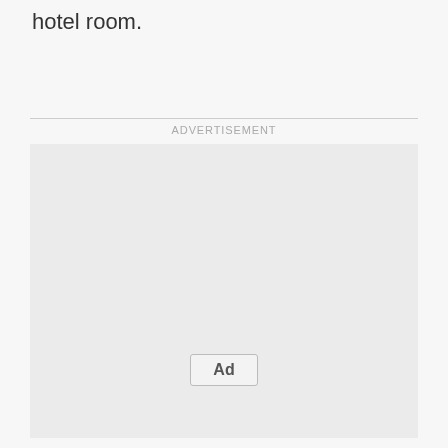hotel room.
[Figure (other): Advertisement placeholder box with 'Ad' button centered near bottom]